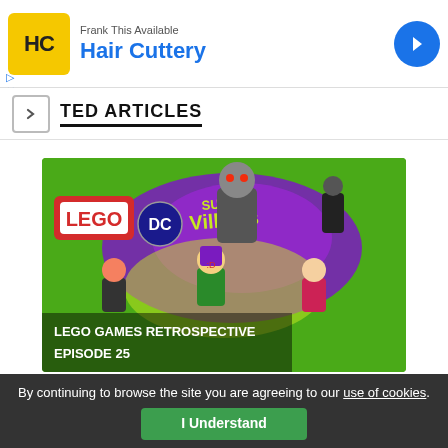[Figure (advertisement): Hair Cuttery ad banner with yellow logo, blue brand name, and blue arrow circle icon]
TED ARTICLES
[Figure (illustration): LEGO DC Super Villains game promotional image showing LEGO characters including Joker, Harley Quinn, and other villains on a green background with text 'LEGO GAMES RETROSPECTIVE EPISODE 25']
LEGO Games Retrospective Episode 25 – L...
May 25, 2022
By continuing to browse the site you are agreeing to our use of cookies.
I Understand